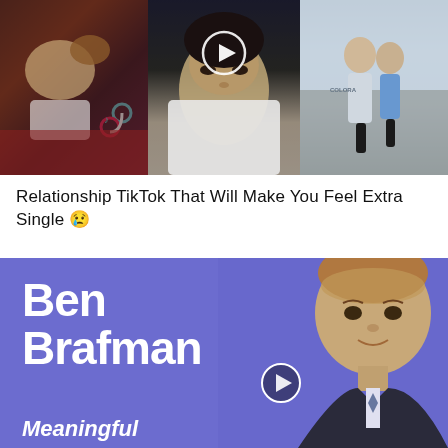[Figure (screenshot): Three-panel TikTok thumbnail grid showing relationship content: left panel shows a person with a dog on red bedding with TikTok logo, center panel shows a close-up face with a play button overlay, right panel shows two people standing outdoors.]
Relationship TikTok That Will Make You Feel Extra Single 😢
[Figure (screenshot): Promotional thumbnail with purple background showing text 'Ben Brafman' in large white bold letters on the left and a man in a dark suit on the right, with 'Meaningful' text at bottom and a play button overlay.]